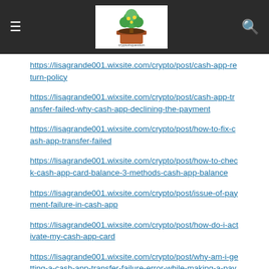Navigation bar with hamburger menu, logo, and search icon
https://lisagrande001.wixsite.com/crypto/post/cash-app-return-policy
https://lisagrande001.wixsite.com/crypto/post/cash-app-transfer-failed-why-cash-app-declining-the-payment
https://lisagrande001.wixsite.com/crypto/post/how-to-fix-cash-app-transfer-failed
https://lisagrande001.wixsite.com/crypto/post/how-to-check-cash-app-card-balance-3-methods-cash-app-balance
https://lisagrande001.wixsite.com/crypto/post/issue-of-payment-failure-in-cash-app
https://lisagrande001.wixsite.com/crypto/post/how-do-i-activate-my-cash-app-card
https://lisagrande001.wixsite.com/crypto/post/why-am-i-getting-a-cash-app-transfer-failure-error-while-making-a-payment